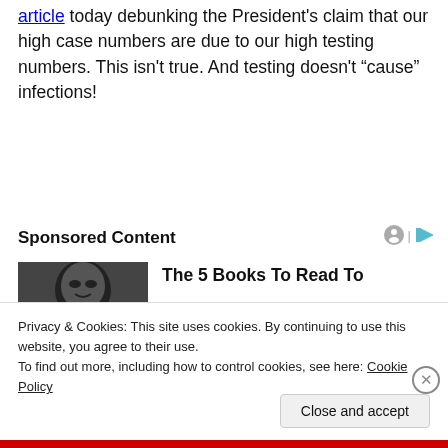article today debunking the President's claim that our high case numbers are due to our high testing numbers. This isn't true. And testing doesn't “cause” infections!
Sponsored Content
[Figure (photo): Black and white close-up photo of a person's face (woman)]
The 5 Books To Read To
Privacy & Cookies: This site uses cookies. By continuing to use this website, you agree to their use.
To find out more, including how to control cookies, see here: Cookie Policy
Close and accept